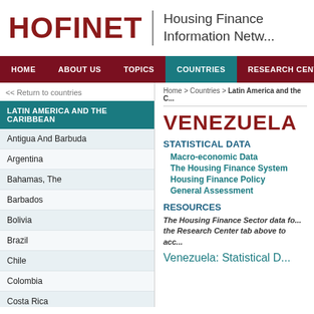HOFINET | Housing Finance Information Network
HOME | ABOUT US | TOPICS | COUNTRIES | RESEARCH CENTER
<< Return to countries
Home > Countries > Latin America and the C...
LATIN AMERICA AND THE CARIBBEAN
Antigua And Barbuda
Argentina
Bahamas, The
Barbados
Bolivia
Brazil
Chile
Colombia
Costa Rica
Dominica
VENEZUELA
STATISTICAL DATA
Macro-economic Data
The Housing Finance System
Housing Finance Policy
General Assessment
RESOURCES
The Housing Finance Sector data fo... the Research Center tab above to acc...
Venezuela: Statistical D...